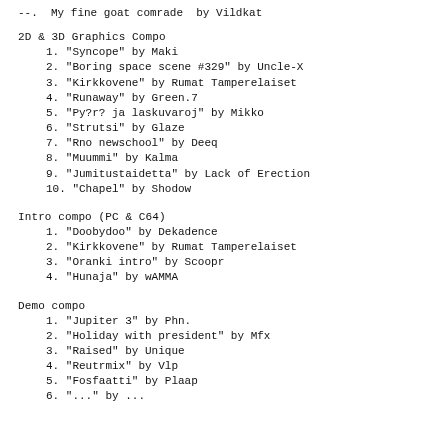--. My fine goat comrade by Vildkat
2D & 3D Graphics Compo
1. "Syncope" by Maki
2. "Boring space scene #329" by Uncle-X
3. "Kirkkovene" by Rumat Tamperelaiset
4. "Runaway" by Green.7
5. "Py?r? ja laskuvaroj" by Mikko
6. "Strutsi" by Glaze
7. "Rno newschool" by Deeq
8. "Muummi" by Kalma
9. "Jumitustaidetta" by Lack of Erection
10. "Chapel" by Shodow
Intro compo (PC & C64)
1. "Doobydoo" by Dekadence
2. "Kirkkovene" by Rumat Tamperelaiset
3. "Oranki intro" by Scoopr
4. "Hunaja" by wAMMA
Demo compo
1. "Jupiter 3" by Phn.
2. "Holiday with president" by Mfx
3. "Raised" by Unique
4. "Reutrmix" by Vlp
5. "Fosfaatti" by Plaap
6. "..." by ...